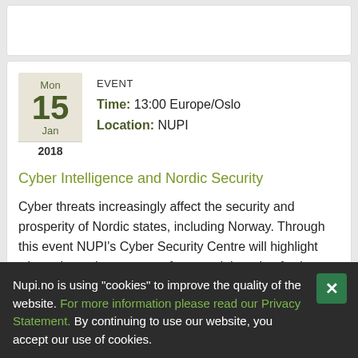EVENT
Time: 13:00 Europe/Oslo
Location: NUPI
Mon 15 Jan 2018
Cyber Intelligence and Nordic Security
Cyber threats increasingly affect the security and prosperity of Nordic states, including Norway. Through this event NUPI's Cyber Security Centre will highlight where these threats come from, and the role of cyber intelligence.
Nupi.no is using "cookies" to improve the quality of the website. For more information please read our Privacy Statement. By continuing to use our website, you accept our use of cookies.